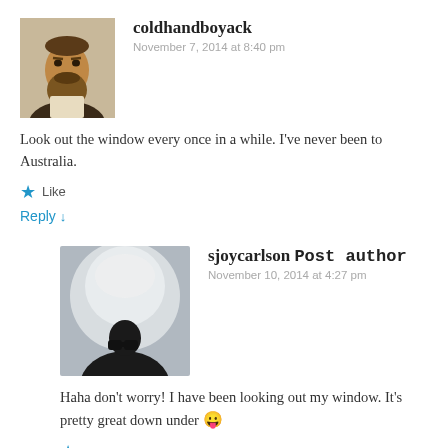[Figure (photo): Avatar photo of coldhandboyack — a sepia-toned portrait of a bearded man bust]
coldhandboyack
November 7, 2014 at 8:40 pm
Look out the window every once in a while. I've never been to Australia.
★ Like
Reply ↓
[Figure (photo): Avatar photo of sjoycarlson — a silhouette of a person looking through binoculars against a bright sky]
sjoycarlson Post author
November 10, 2014 at 4:27 pm
Haha don't worry! I have been looking out my window. It's pretty great down under 😛
★ Like